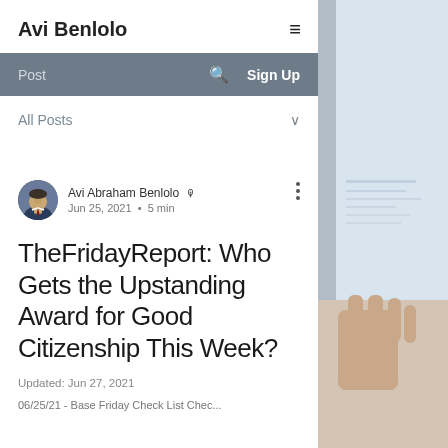Avi Benlolo
Post  🔍  Sign Up
All Posts ∨
Avi Abraham Benlolo 🎓 Admin
Jun 25, 2021 · 5 min
TheFridayReport: Who Gets the Upstanding Award for Good Citizenship This Week?
Updated: Jun 27, 2021